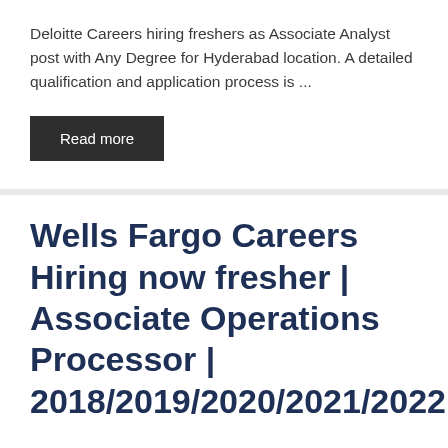Deloitte Careers hiring freshers as Associate Analyst post with Any Degree for Hyderabad location. A detailed qualification and application process is ...
Read more
Wells Fargo Careers Hiring now fresher | Associate Operations Processor | 2018/2019/2020/2021/2022